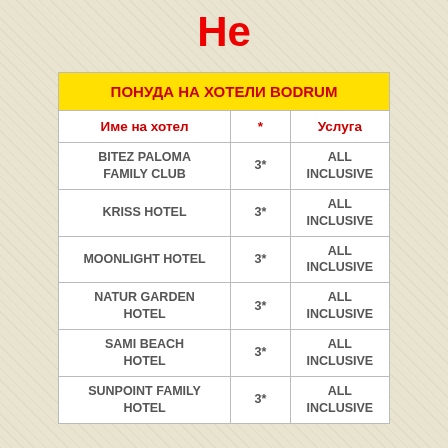Не
| ПОНУДА НА ХОТЕЛИ BODRUM |  |  |
| --- | --- | --- |
| Име на хотел | * | Услуга |
| BITEZ PALOMA FAMILY CLUB | 3* | ALL INCLUSIVE |
| KRISS HOTEL | 3* | ALL INCLUSIVE |
| MOONLIGHT HOTEL | 3* | ALL INCLUSIVE |
| NATUR GARDEN HOTEL | 3* | ALL INCLUSIVE |
| SAMI BEACH HOTEL | 3* | ALL INCLUSIVE |
| SUNPOINT FAMILY HOTEL | 3* | ALL INCLUSIVE |